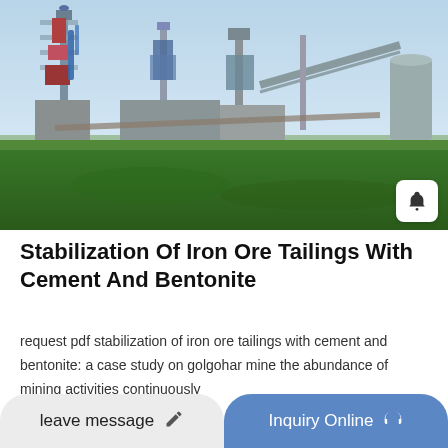[Figure (photo): Aerial/ground-level photo of an industrial iron ore mining or cement processing plant with tall silos, conveyor belts, scaffolded towers, and a green field in the foreground under a light blue sky.]
Stabilization Of Iron Ore Tailings With Cement And Bentonite
request pdf stabilization of iron ore tailings with cement and bentonite: a case study on golgohar mine the abundance of mining activities continuously